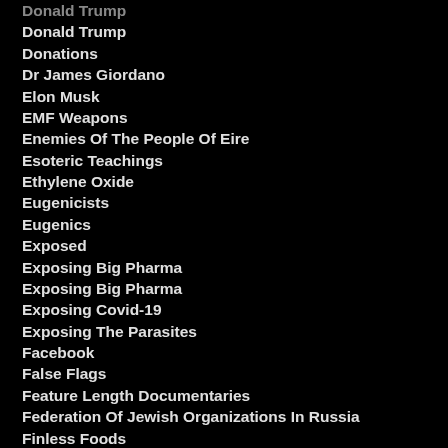Donald Trump
Donald Trump
Donations
Dr James Giordano
Elon Musk
EMF Weapons
Enemies Of The People Of Eire
Esoteric Teachings
Ethylene Oxide
Eugenicists
Eugenics
Exposed
Exposing Big Pharma
Exposing Big Pharma
Exposing Covid-19
Exposing The Parasites
Facebook
False Flags
Feature Length Documentaries
Federation Of Jewish Organizations In Russia
Finless Foods
Fiona Rose Diamond
Flase Flags
Flight Radar
Fluoride
Freelancing